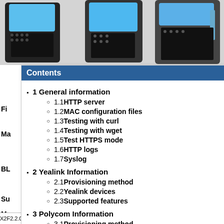[Figure (photo): Three VoIP/office phones shown at top of page]
Contents
1 General information
1.1 HTTP server
1.2 MAC configuration files
1.3 Testing with curl
1.4 Testing with wget
1.5 Test HTTPS mode
1.6 HTTP logs
1.7 Syslog
2 Yealink Information
2.1 Provisioning method
2.2 Yealink devices
2.3 Supported features
3 Polycom Information
3.1 Provisioning method
3.2 Polycom devices
3.3 Supported features
| Directory/BLF |
| --- |
| N/A |
| N/A |
| N/A |